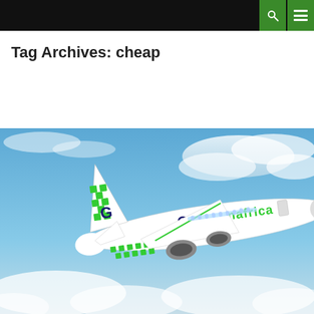Tag Archives: cheap
[Figure (photo): Green Africa Airways aircraft (white livery with green checkerboard pattern) in flight against a blue sky with clouds]